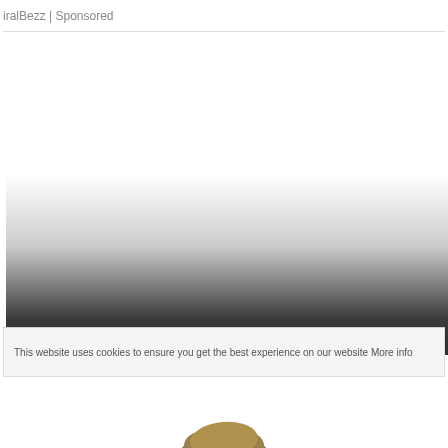iralBezz | Sponsored
[Figure (screenshot): Video player with gradient overlay fading from white to dark gray/black at the bottom, with a horizontal progress bar showing four segments separated by dots near the bottom of the player.]
This website uses cookies to ensure you get the best experience on our website More info
[Figure (photo): Top of a person's head with brown/golden hair visible at the bottom of the page, partially obscured by a light yellow 'Got it' banner.]